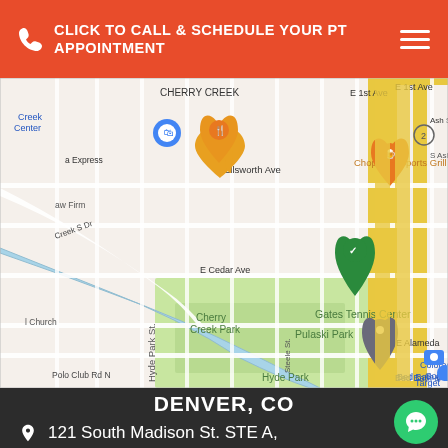CLICK TO CALL & SCHEDULE YOUR PT APPOINTMENT
[Figure (map): Google map showing Cherry Creek area in Denver, CO with Gates Tennis Center marker, Cherry Creek Park, Pulaski Park, Hyde Park, Bed Bath & Beyond, Colorado Ski Country USA, Chopper's Sports Grill, and other landmarks.]
DENVER, CO
121 South Madison St. STE A,